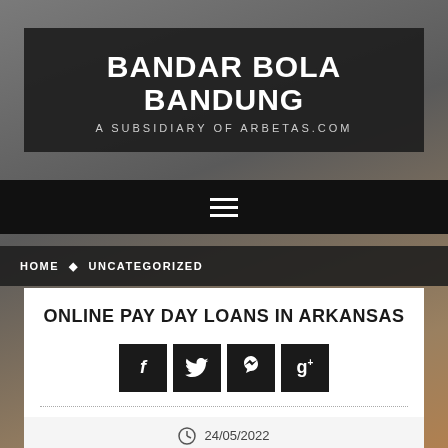BANDAR BOLA BANDUNG
A SUBSIDIARY OF ARBETAS.COM
[Figure (infographic): Hamburger menu icon (three horizontal white lines on black bar)]
HOME   UNCATEGORIZED
ONLINE PAY DAY LOANS IN ARKANSAS
[Figure (infographic): Four social media share buttons: Facebook (f), Twitter (bird), Pinterest (p), Google+ (g+)]
24/05/2022